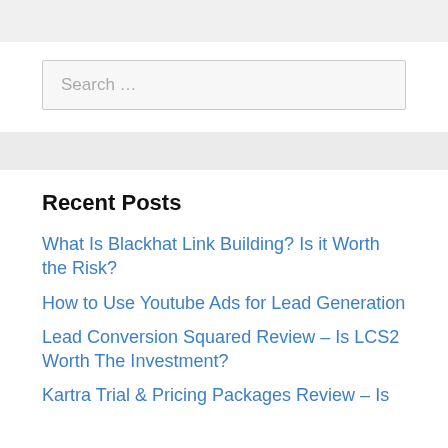[Figure (screenshot): Search input box with placeholder text 'Search ...']
Recent Posts
What Is Blackhat Link Building? Is it Worth the Risk?
How to Use Youtube Ads for Lead Generation
Lead Conversion Squared Review – Is LCS2 Worth The Investment?
Kartra Trial & Pricing Packages Review – Is